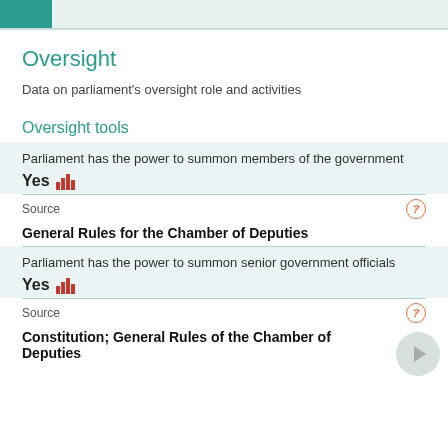Oversight
Data on parliament's oversight role and activities
Oversight tools
Parliament has the power to summon members of the government
Yes
Source
General Rules for the Chamber of Deputies
Parliament has the power to summon senior government officials
Yes
Source
Constitution; General Rules of the Chamber of Deputies